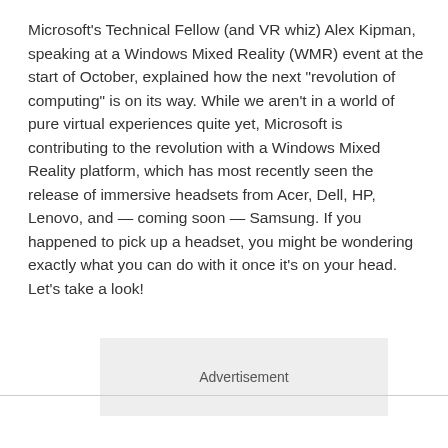Microsoft's Technical Fellow (and VR whiz) Alex Kipman, speaking at a Windows Mixed Reality (WMR) event at the start of October, explained how the next "revolution of computing" is on its way. While we aren't in a world of pure virtual experiences quite yet, Microsoft is contributing to the revolution with a Windows Mixed Reality platform, which has most recently seen the release of immersive headsets from Acer, Dell, HP, Lenovo, and — coming soon — Samsung. If you happened to pick up a headset, you might be wondering exactly what you can do with it once it's on your head. Let's take a look!
[Figure (other): Advertisement placeholder box with the text 'Advertisement' centered inside a light gray rectangle.]